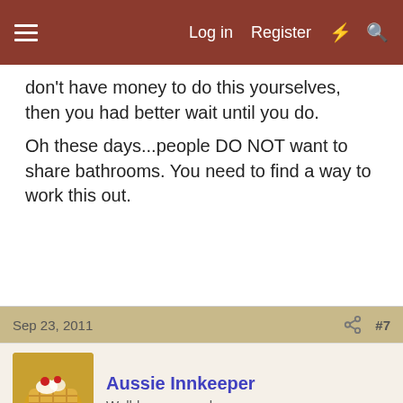Log in  Register
don't have money to do this yourselves, then you had better wait until you do.
Oh these days...people DO NOT want to share bathrooms. You need to find a way to work this out.
Sep 23, 2011   #7
Aussie Innkeeper
Well-known member
We can talk you into it, or out of it. Which would you prefer?
I will speak to your question about raising a family while running an inn. Three small children, you say? Well, you need to ask yourself how they behave in public settings. How are they around strangers? Are they content to wait until you stop speaking to say 'excuse me' to interrupt to get your attention, or do they...